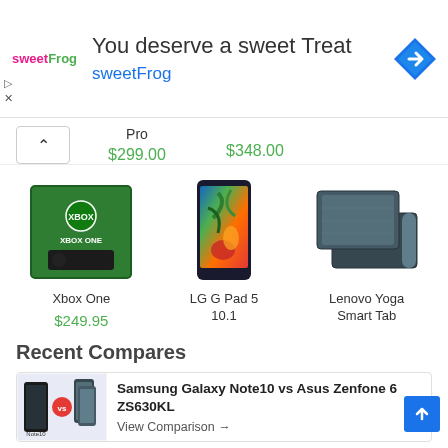[Figure (screenshot): SweetFrog advertisement banner with logo, 'You deserve a sweet Treat' heading, sweetFrog link, navigation arrow icon, and play/close controls]
Pro
$299.00
$348.00
[Figure (photo): Xbox One gaming console box (green)]
Xbox One
$249.95
[Figure (photo): LG G Pad 5 10.1 tablet showing colorful tropical screen]
LG G Pad 5 10.1
[Figure (photo): Lenovo Yoga Smart Tab tablets in dark gray]
Lenovo Yoga Smart Tab
Recent Compares
[Figure (photo): Samsung Galaxy Note10 vs Asus Zenfone 6 ZS630KL comparison image]
Samsung Galaxy Note10 vs Asus Zenfone 6 ZS630KL
View Comparison →